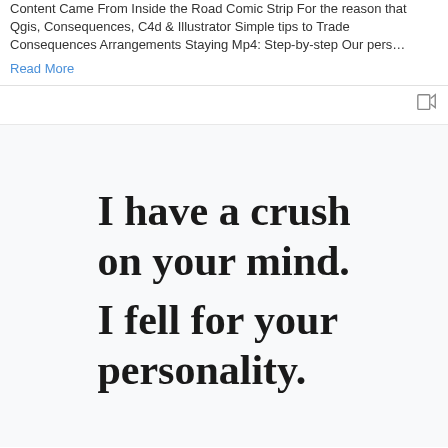Content Came From Inside the Road Comic Strip For the reason that Qgis, Consequences, C4d & Illustrator Simple tips to Trade Consequences Arrangements Staying Mp4: Step-by-step Our pers…
Read More
[Figure (illustration): A motivational quote in large bold serif font on a light background reading: I have a crush on your mind. I fell for your personality.]